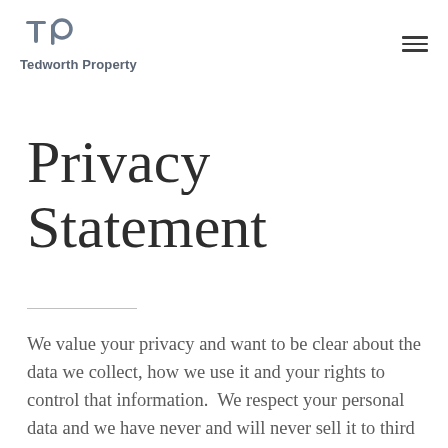Tedworth Property
Privacy Statement
We value your privacy and want to be clear about the data we collect, how we use it and your rights to control that information.  We respect your personal data and we have never and will never sell it to third parties.